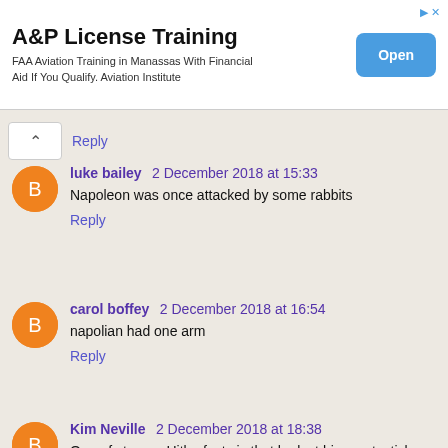[Figure (screenshot): Advertisement banner for A&P License Training. Title: 'A&P License Training'. Subtitle: 'FAA Aviation Training in Manassas With Financial Aid If You Qualify. Aviation Institute'. Blue 'Open' button on the right.]
Reply
luke bailey 2 December 2018 at 15:33
Napoleon was once attacked by some rabbits
Reply
carol boffey 2 December 2018 at 16:54
napolian had one arm
Reply
Kim Neville 2 December 2018 at 18:38
One of strange Hitler facts is that he lost his one testicle